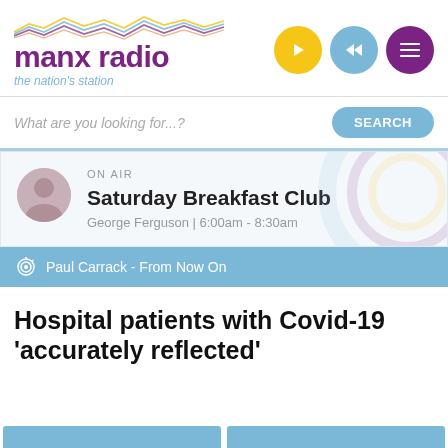[Figure (logo): Manx Radio logo with colorful wave graphic above text 'manx radio' in purple and tagline 'the nation's station' in light blue]
[Figure (infographic): Three circular buttons: yellow play button, blue rewind button, dark purple hamburger menu button]
What are you looking for...?
SEARCH
ON AIR
Saturday Breakfast Club
George Ferguson | 6:00am - 8:30am
Paul Carrack - From Now On
Hospital patients with Covid-19 'accurately reflected'